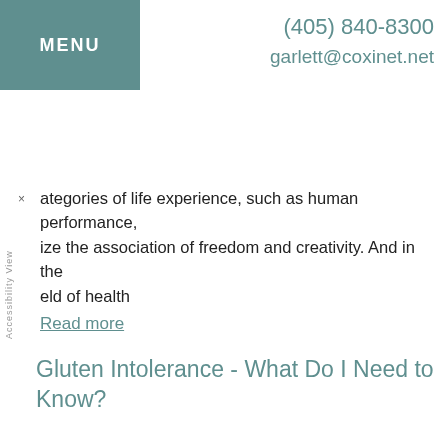MENU
(405) 840-8300
garlett@coxinet.net
ategories of life experience, such as human performance, ize the association of freedom and creativity. And in the eld of health
Read more
Gluten Intolerance - What Do I Need to Know?
Approximately 40% of Americans have the genetic potential to become gluten intolerant. More than 1% of Americans have celiac disease. In fact, this percentage may be a low estimate because most physicians are unfamiliar with the signs and symptoms of celiac disease, which can be a "great masquerader".
Read more